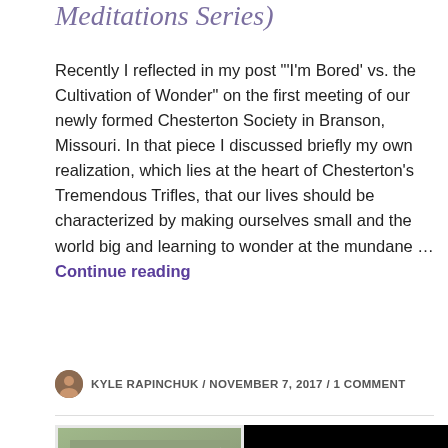Meditations Series)
Recently I reflected in my post "'I'm Bored' vs. the Cultivation of Wonder" on the first meeting of our newly formed Chesterton Society in Branson, Missouri. In that piece I discussed briefly my own realization, which lies at the heart of Chesterton's Tremendous Trifles, that our lives should be characterized by making ourselves small and the world big and learning to wonder at the mundane … Continue reading
KYLE RAPINCHUK / NOVEMBER 7, 2017 / 1 COMMENT
[Figure (illustration): Book cover of Tremendous Trifles by G.K. Chesterton, showing an illustrated figure of Chesterton holding a cigarette, with the title in decorative text at the bottom, on a green-toned background.]
[Figure (photo): Black rectangular panel, appears to be a dark/black image or video thumbnail.]